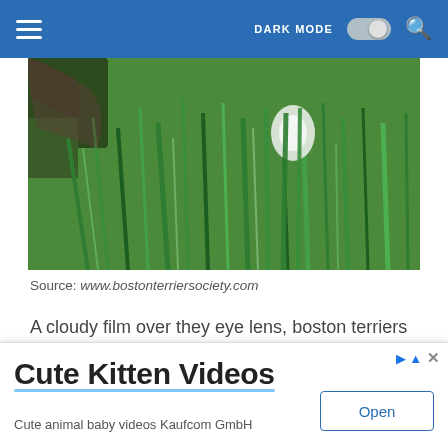DARK MODE [toggle] [search]
[Figure (photo): Photo of a dog or animal partially hidden in tall green grass, with a white object (possibly a toy) visible among the blades.]
Source: www.bostonterriersociety.com
A cloudy film over they eye lens, boston terriers can develop this as young adults or as older adults. The most common ailment in boston terriers as far as eye disorders are concerned is cataracts.
[Figure (screenshot): Advertisement banner: Cute Kitten Videos — Cute animal baby videos Kaufcom GmbH — Open button]